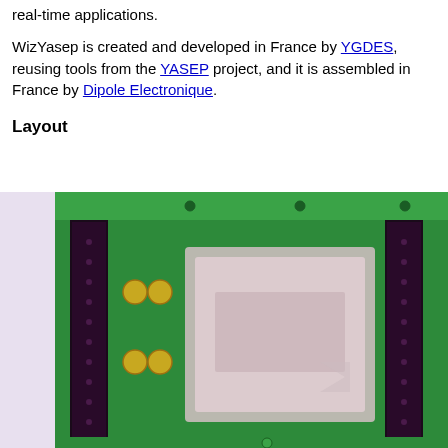real-time applications.
WizYasep is created and developed in France by YGDES, reusing tools from the YASEP project, and it is assembled in France by Dipole Electronique.
Layout
[Figure (photo): Close-up photograph of a green PCB (printed circuit board) showing connectors, gold solder points, and an IC chip with a label, positioned against a light purple/white background.]